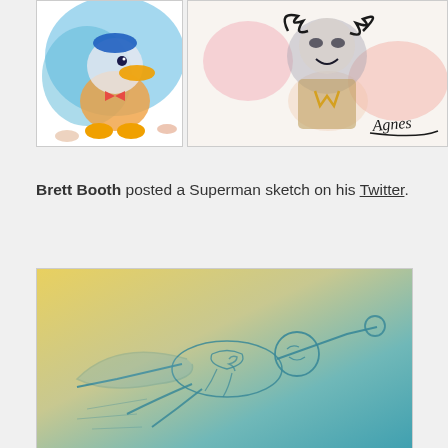[Figure (illustration): Colorful cartoon illustration of Donald Duck with ocean/wave theme, seashells and blue clouds]
[Figure (illustration): Watercolor sketch of Wonder Woman chibi-style character with red/orange accents and black ink lines, signed 'Agnes']
Brett Booth posted a Superman sketch on his Twitter.
[Figure (illustration): Blue pencil sketch of Superman flying horizontally, arms extended, on a warm yellow-teal gradient background]